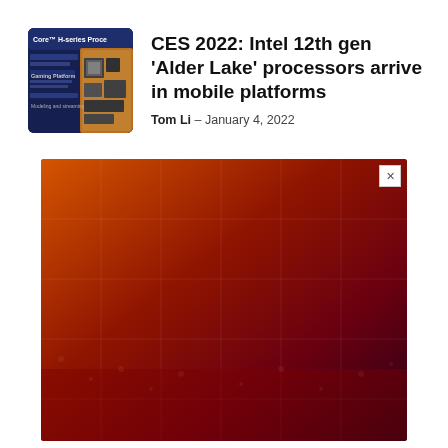[Figure (photo): Thumbnail image of Intel Core H-series Processor promotional material with dark blue background showing chip and text]
CES 2022: Intel 12th gen ‘Alder Lake’ processors arrive in mobile platforms
Tom Li – January 4, 2022
[Figure (infographic): ITWC Briefings advertisement banner with orange-red gradient background. Text reads: 'The future belongs to "Zero" organizations — Here’s how to get there', SEPTEMBER 13, 2022 | 1:00 PM ET, SAVE MY SPOT button, sponsored by Fortinet and Exclusive Networks]